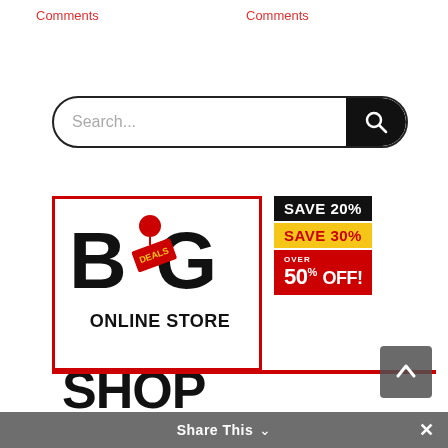Comments
Comments
[Figure (screenshot): Search bar with placeholder text 'Search...' and black circular search button on right]
[Figure (infographic): Big Deals Online Store advertisement banner with 'SHOP NOW' text, runner silhouette, and savings badges showing SAVE 20%, SAVE 30%, over 50% OFF!]
Share This